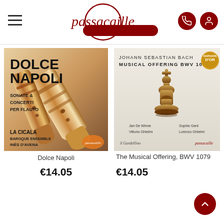passacaille
[Figure (illustration): Album cover for Dolce Napoli – Sonate & Concerti per Flauto, La Cicala Baroque Ensemble, Inès D'Avena, Passacaille label. Background shows wooden recorders (baroque flutes).]
Dolce Napoli
€14.05
[Figure (illustration): Album cover for Johann Sebastian Bach Musical Offering BWV 1079 – Jan De Winne, Sophie Gent, Vittorio Ghielmi, Lorenzo Ghielmi. il Gardellino, Passacaille label. Shows a wooden chess king piece. Gold Diapason d'Or award badge.]
The Musical Offering, BWV 1079
€14.05